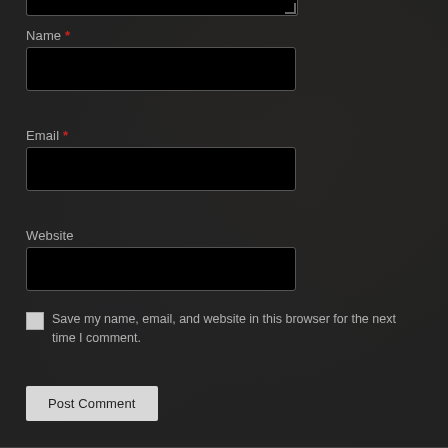[Figure (screenshot): Top of a textarea input stub visible at the very top of the page, black background with grey border]
Name *
[Figure (screenshot): Black text input field for Name]
Email *
[Figure (screenshot): Black text input field for Email]
Website
[Figure (screenshot): Black text input field for Website]
Save my name, email, and website in this browser for the next time I comment.
Post Comment